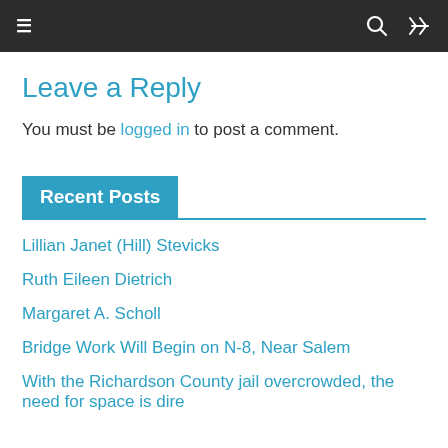≡   🔍   ⇌
Leave a Reply
You must be logged in to post a comment.
Recent Posts
Lillian Janet (Hill) Stevicks
Ruth Eileen Dietrich
Margaret A. Scholl
Bridge Work Will Begin on N-8, Near Salem
With the Richardson County jail overcrowded, the need for space is dire